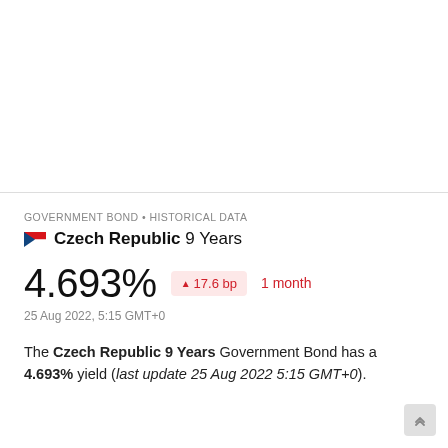GOVERNMENT BOND • HISTORICAL DATA
Czech Republic 9 Years
4.693% ▲ 17.6 bp 1 month
25 Aug 2022, 5:15 GMT+0
The Czech Republic 9 Years Government Bond has a 4.693% yield (last update 25 Aug 2022 5:15 GMT+0).